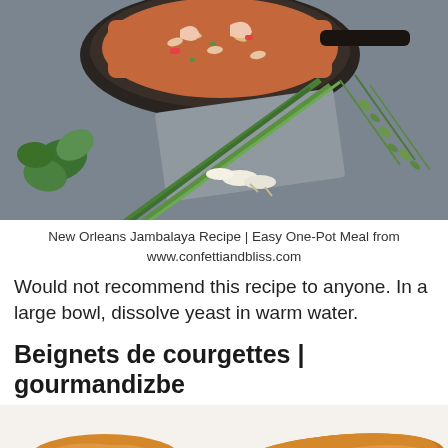[Figure (photo): Food photo showing a cast iron skillet with jambalaya (rice dish with shrimp and vegetables), surrounded by green onions, fresh parsley, and thyme sprigs on a blue-gray background]
New Orleans Jambalaya Recipe | Easy One-Pot Meal from
www.confettiandbliss.com
Would not recommend this recipe to anyone. In a large bowl, dissolve yeast in warm water.
Beignets de courgettes | gourmandizbe
[Figure (photo): Close-up photo of golden fried beignets de courgettes (zucchini fritters) on white paper]